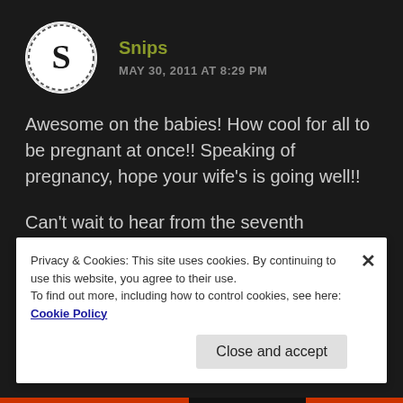Snips
MAY 30, 2011 AT 8:29 PM
Awesome on the babies! How cool for all to be pregnant at once!! Speaking of pregnancy, hope your wife's is going well!!
Can't wait to hear from the seventh generation heiress...I know you can just taste the ending!
Privacy & Cookies: This site uses cookies. By continuing to use this website, you agree to their use.
To find out more, including how to control cookies, see here: Cookie Policy